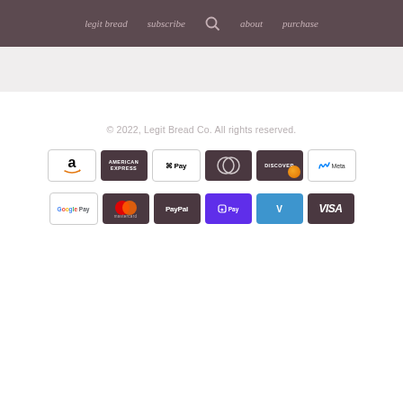legit bread  subscribe  [search]  about  purchase
© 2022, Legit Bread Co. All rights reserved.
[Figure (other): Row of payment method icons: Amazon, American Express, Apple Pay, Diners Club, Discover, Meta Pay]
[Figure (other): Row of payment method icons: Google Pay, Mastercard, PayPal, Shop Pay, Venmo, Visa]